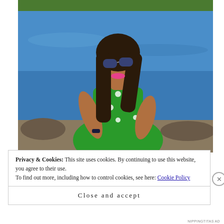[Figure (photo): A woman with long dark hair and sunglasses wearing a green polka-dot dress, sitting by a blue lake with green trees in the background, looking upward and smiling with pink lipstick.]
Privacy & Cookies: This site uses cookies. By continuing to use this website, you agree to their use.
To find out more, including how to control cookies, see here: Cookie Policy
Close and accept